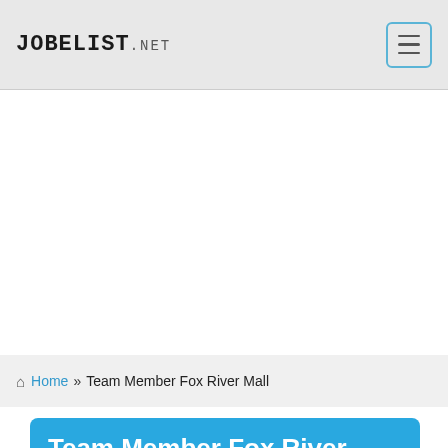JOBELIST.NET
Home » Team Member Fox River Mall
Team Member Fox River Mall Sbarro Appleton